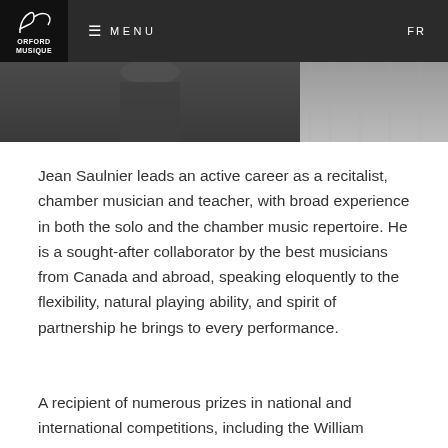ORFORD MUSIQUE  ≡ MENU  FR
[Figure (photo): Dark background image strip showing a person, partially visible, dark tones on left and lighter grey on right]
Jean Saulnier leads an active career as a recitalist, chamber musician and teacher, with broad experience in both the solo and the chamber music repertoire. He is a sought-after collaborator by the best musicians from Canada and abroad, speaking eloquently to the flexibility, natural playing ability, and spirit of partnership he brings to every performance.
A recipient of numerous prizes in national and international competitions, including the William Kempff International Competition, the Prix...